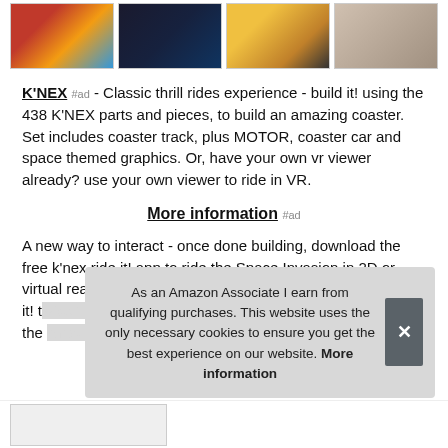[Figure (photo): Four product thumbnail images in a horizontal strip showing K'NEX building sets and roller coasters]
K'NEX #ad - Classic thrill rides experience - build it! using the 438 K'NEX parts and pieces, to build an amazing coaster. Set includes coaster track, plus MOTOR, coaster car and space themed graphics. Or, have your own vr viewer already? use your own viewer to ride in VR.
More information #ad
A new way to interact - once done building, download the free k'nex ride it! app to ride the Space Invasion in 2D or virtual real[ity...] it! t[wice...] the [...]
As an Amazon Associate I earn from qualifying purchases. This website uses the only necessary cookies to ensure you get the best experience on our website. More information